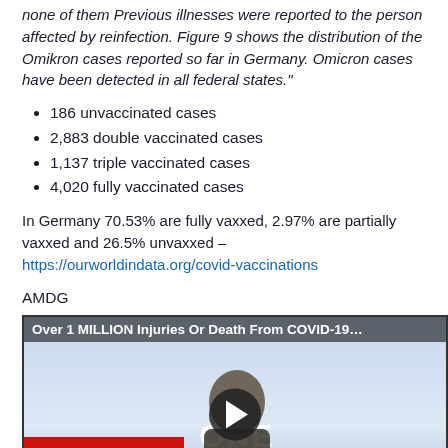none of them Previous illnesses were reported to the person affected by reinfection. Figure 9 shows the distribution of the Omikron cases reported so far in Germany. Omicron cases have been detected in all federal states."
186 unvaccinated cases
2,883 double vaccinated cases
1,137 triple vaccinated cases
4,020 fully vaccinated cases
In Germany 70.53% are fully vaxxed, 2.97% are partially vaxxed and 26.5% unvaxxed – https://ourworldindata.org/covid-vaccinations
AMDG
[Figure (screenshot): Video thumbnail showing a news anchor on One America Network with the title 'Over 1 MILLION Injuries Or Death From COVID-19...' and a play button overlay.]